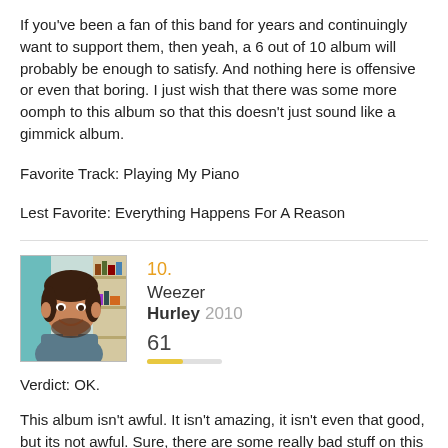If you've been a fan of this band for years and continuingly want to support them, then yeah, a 6 out of 10 album will probably be enough to satisfy. And nothing here is offensive or even that boring. I just wish that there was some more oomph to this album so that this doesn't just sound like a gimmick album.
Favorite Track: Playing My Piano
Lest Favorite: Everything Happens For A Reason
[Figure (photo): Photo of a man with dark hair smiling, used as album review avatar/thumbnail]
10.
Weezer
Hurley 2010
61
Verdict: OK.
This album isn't awful. It isn't amazing, it isn't even that good, but its not awful. Sure, there are some really bad stuff on this album, and some really questionable stuff here that makes me just wince. But there is nothing really here that makes me angry or passionate in any way, shape or form.